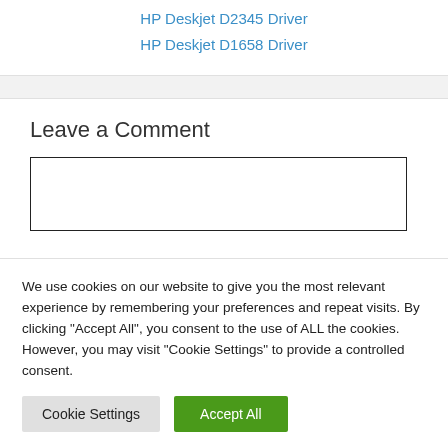HP Deskjet D2345 Driver
HP Deskjet D1658 Driver
Leave a Comment
We use cookies on our website to give you the most relevant experience by remembering your preferences and repeat visits. By clicking “Accept All”, you consent to the use of ALL the cookies. However, you may visit "Cookie Settings" to provide a controlled consent.